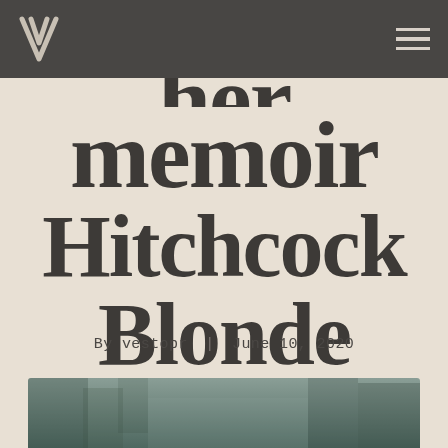vestopr logo and hamburger menu
her memoir Hitchcock Blonde
By vestopr | June 10, 2020
[Figure (photo): Partial view of a black and white or muted photograph at the bottom of the page, partially cropped]